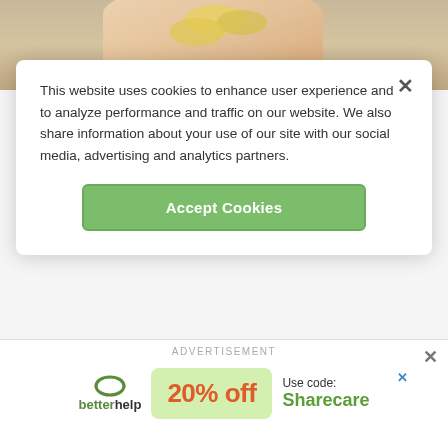[Figure (photo): Hand holding colorful vitamin pills/tablets, partially visible at top of page]
This website uses cookies to enhance user experience and to analyze performance and traffic on our website. We also share information about your use of our site with our social media, advertising and analytics partners.
Accept Cookies
VIDEO
Do Children Need Multivitamins?
[BLANK_AUDIO] According to the American Academy of Pediatrics, kids do not need
[Figure (screenshot): Advertisement banner for BetterHelp showing '20% off' discount with code Sharecare]
ADVERTISEMENT
betterhelp
20% off
Use code: Sharecare